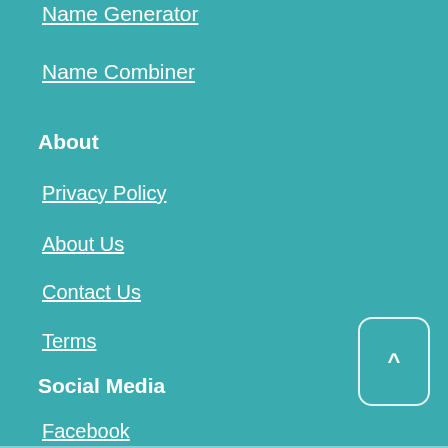Name Generator
Name Combiner
About
Privacy Policy
About Us
Contact Us
Terms
Social Media
Facebook
Twitter